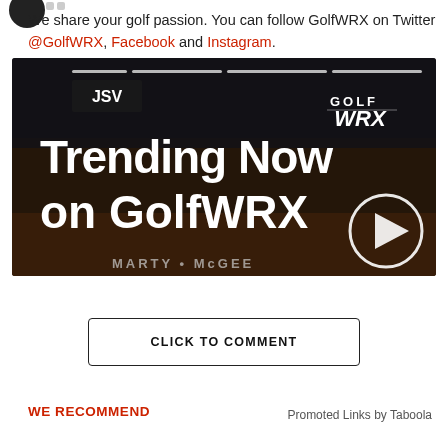We share your golf passion. You can follow GolfWRX on Twitter @GolfWRX, Facebook and Instagram.
[Figure (screenshot): Video thumbnail showing 'Trending Now on GolfWRX' with GolfWRX logo and play button, dark background with people in background]
CLICK TO COMMENT
WE RECOMMEND
Promoted Links by Taboola